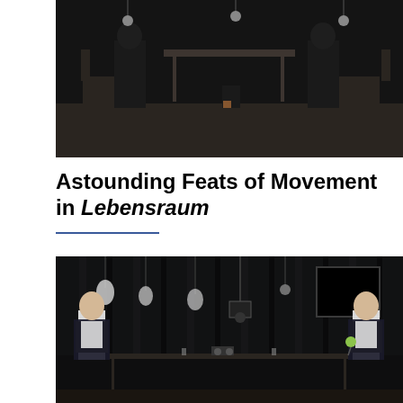[Figure (photo): Black and white theatrical stage photo showing performers in dark clothing on a stage set with chairs and a table, multiple figures visible in dramatic low-key lighting]
Astounding Feats of Movement in Lebensraum
[Figure (photo): Black and white theatrical stage photo showing two men in white shirts and dark vests seated at opposite ends of a table, with hanging objects above them in a dark curtained setting]